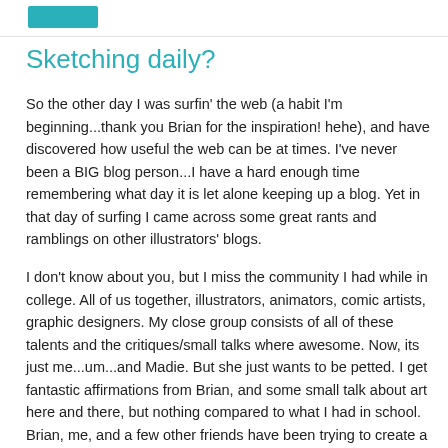Sketching daily?
So the other day I was surfin' the web (a habit I'm beginning...thank you Brian for the inspiration! hehe), and have discovered how useful the web can be at times. I've never been a BIG blog person...I have a hard enough time remembering what day it is let alone keeping up a blog. Yet in that day of surfing I came across some great rants and ramblings on other illustrators' blogs.
I don't know about you, but I miss the community I had while in college. All of us together, illustrators, animators, comic artists, graphic designers. My close group consists of all of these talents and the critiques/small talks where awesome. Now, its just me...um...and Madie. But she just wants to be petted. I get fantastic affirmations from Brian, and some small talk about art here and there, but nothing compared to what I had in school. Brian, me, and a few other friends have been trying to create a group of fellow artists here in the